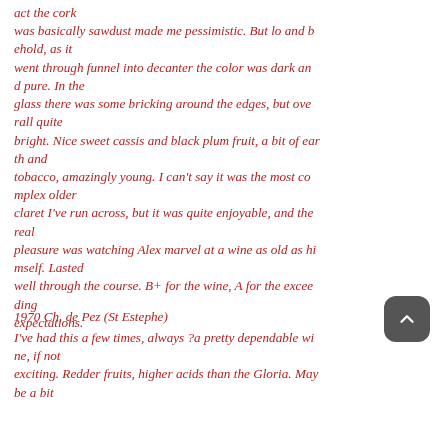act the cork was basically sawdust made me pessimistic. But lo and behold, as it went through funnel into decanter the color was dark and pure. In the glass there was some bricking around the edges, but overall quite bright. Nice sweet cassis and black plum fruit, a bit of earth and tobacco, amazingly young. I can't say it was the most complex older claret I've run across, but it was quite enjoyable, and the real pleasure was watching Alex marvel at a wine as old as himself. Lasted well through the course. B+ for the wine, A for the exceeding expectations.
1970 Ch. de Pez (St Estephe)
I've had this a few times, always ?a pretty dependable wine, if not exciting. Redder fruits, higher acids than the Gloria. May be a bit